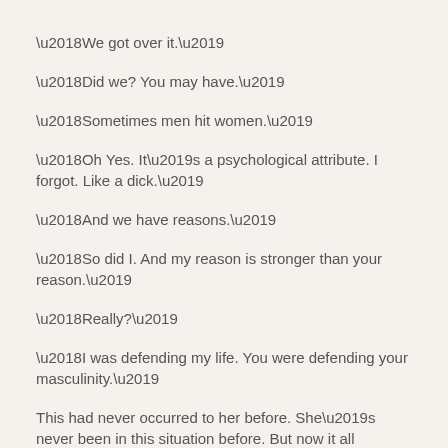‘We got over it.’
‘Did we? You may have.’
‘Sometimes men hit women.’
‘Oh Yes. It’s a psychological attribute. I forgot. Like a dick.’
‘And we have reasons.’
‘So did I. And my reason is stronger than your reason.’
‘Really?’
‘I was defending my life. You were defending your masculinity.’
This had never occurred to her before. She’s never been in this situation before. But now it all seemed so clear.